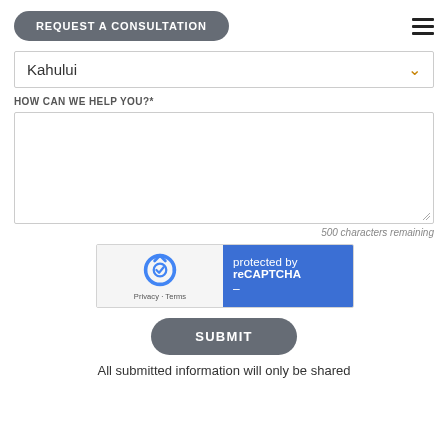REQUEST A CONSULTATION
Kahului
HOW CAN WE HELP YOU?*
500 characters remaining
[Figure (screenshot): reCAPTCHA widget showing 'protected by reCAPTCHA' with Privacy and Terms links]
SUBMIT
All submitted information will only be shared